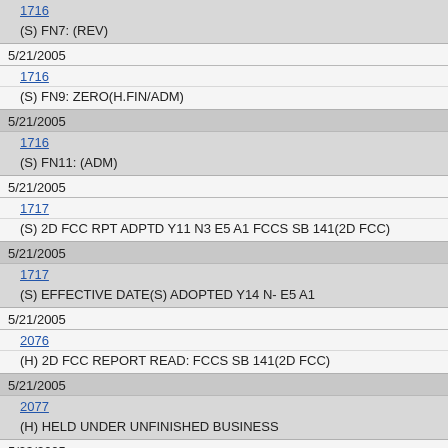1716
(S) FN7: (REV)
5/21/2005
1716
(S) FN9: ZERO(H.FIN/ADM)
5/21/2005
1716
(S) FN11: (ADM)
5/21/2005
1717
(S) 2D FCC RPT ADPTD Y11 N3 E5 A1 FCCS SB 141(2D FCC)
5/21/2005
1717
(S) EFFECTIVE DATE(S) ADOPTED Y14 N- E5 A1
5/21/2005
2076
(H) 2D FCC REPORT READ: FCCS SB 141(2D FCC)
5/21/2005
2077
(H) HELD UNDER UNFINISHED BUSINESS
5/23/2005